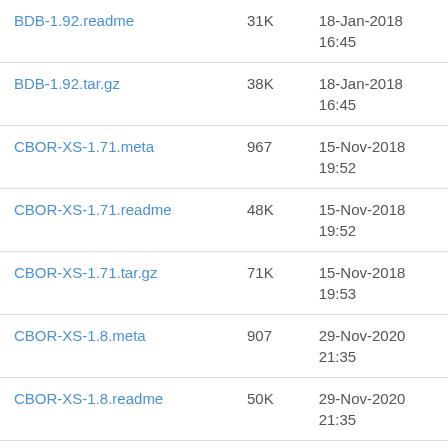| Name | Size | Date |
| --- | --- | --- |
| BDB-1.92.readme | 31K | 18-Jan-2018 16:45 |
| BDB-1.92.tar.gz | 38K | 18-Jan-2018 16:45 |
| CBOR-XS-1.71.meta | 967 | 15-Nov-2018 19:52 |
| CBOR-XS-1.71.readme | 48K | 15-Nov-2018 19:52 |
| CBOR-XS-1.71.tar.gz | 71K | 15-Nov-2018 19:53 |
| CBOR-XS-1.8.meta | 907 | 29-Nov-2020 21:35 |
| CBOR-XS-1.8.readme | 50K | 29-Nov-2020 21:35 |
| CBOR-XS-1.8.tar.gz | 74K | 29-Nov-2020 21:36 |
| CBOR-XS-1.81.meta | 908 | 30-Nov-2020 18:30 |
| CBOR-XS-1.81.readme | 50K | 30-Nov-2020 |